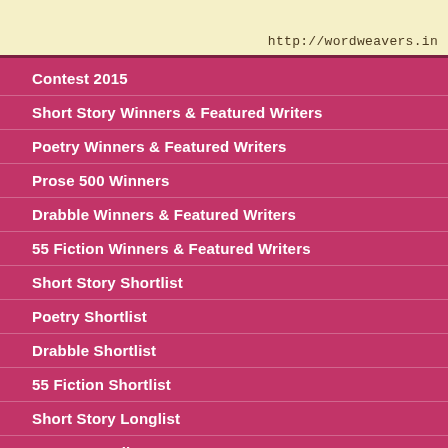[Figure (other): Top banner with light yellow background showing website URL http://wordweavers.in and partial decorative image]
Contest 2015
Short Story Winners & Featured Writers
Poetry Winners & Featured Writers
Prose 500 Winners
Drabble Winners & Featured Writers
55 Fiction Winners & Featured Writers
Short Story Shortlist
Poetry Shortlist
Drabble Shortlist
55 Fiction Shortlist
Short Story Longlist
Poetry Longlist
Prose 500 Longlist
Drabble Longlist